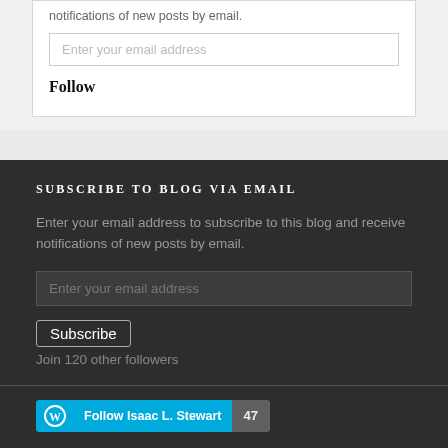notifications of new posts by email.
[Figure (screenshot): Email input field with placeholder text 'Enter your email address' (top white section)]
Follow
SUBSCRIBE TO BLOG VIA EMAIL
Enter your email address to subscribe to this blog and receive notifications of new posts by email.
[Figure (screenshot): Email input field with placeholder text 'Enter your email address' (dark section)]
Subscribe
Join 120 other followers
[Figure (screenshot): WordPress Follow bar with 'Follow Isaac L. Stewart' text and count badge showing 47]